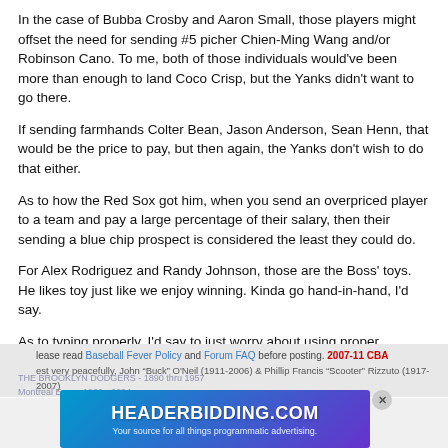In the case of Bubba Crosby and Aaron Small, those players might offset the need for sending #5 picher Chien-Ming Wang and/or Robinson Cano. To me, both of those individuals would've been more than enough to land Coco Crisp, but the Yanks didn't want to go there.
If sending farmhands Colter Bean, Jason Anderson, Sean Henn, that would be the price to pay, but then again, the Yanks don't wish to do that either.
As to how the Red Sox got him, when you send an overpriced player to a team and pay a large percentage of their salary, then their sending a blue chip prospect is considered the least they could do.
For Alex Rodriguez and Randy Johnson, those are the Boss' toys. He likes toy just like we enjoy winning. Kinda go hand-in-hand, I'd say.
As to typing properly, I'd say to just worry about using proper grammar, periods and a space between sentences.
Please read Baseball Fever Policy and Forum FAQ before posting. 2007-11 CBA
Rest very peacefully, John “Buck” O'Neil (1911-2006) & Phillip Francis “Scooter” Rizzuto (1917-2007)
[Figure (other): Advertisement banner for HEADERBIDDING.COM with tagline 'Your source for all things programmatic advertising.']